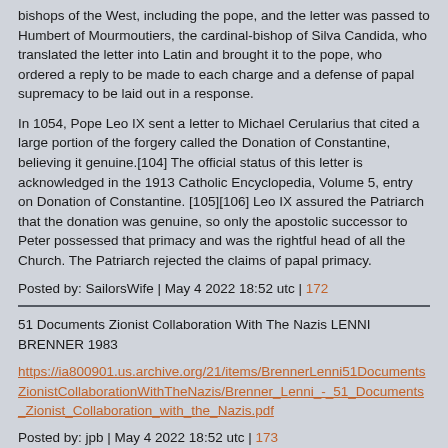bishops of the West, including the pope, and the letter was passed to Humbert of Mourmoutiers, the cardinal-bishop of Silva Candida, who translated the letter into Latin and brought it to the pope, who ordered a reply to be made to each charge and a defense of papal supremacy to be laid out in a response.
In 1054, Pope Leo IX sent a letter to Michael Cerularius that cited a large portion of the forgery called the Donation of Constantine, believing it genuine.[104] The official status of this letter is acknowledged in the 1913 Catholic Encyclopedia, Volume 5, entry on Donation of Constantine. [105][106] Leo IX assured the Patriarch that the donation was genuine, so only the apostolic successor to Peter possessed that primacy and was the rightful head of all the Church. The Patriarch rejected the claims of papal primacy.
Posted by: SailorsWife | May 4 2022 18:52 utc | 172
51 Documents Zionist Collaboration With The Nazis LENNI BRENNER 1983
https://ia800901.us.archive.org/21/items/BrennerLenni51DocumentsZionistCollaborationWithTheNazis/Brenner_Lenni_-_51_Documents_Zionist_Collaboration_with_the_Nazis.pdf
Posted by: jpb | May 4 2022 18:52 utc | 173